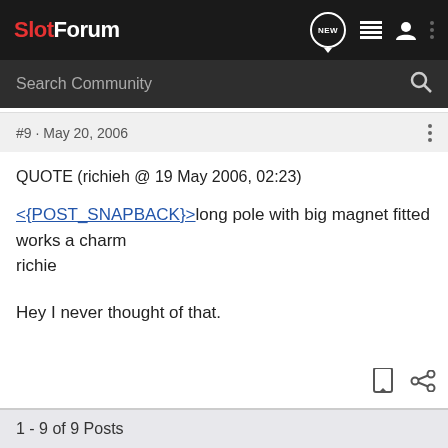SlotForum
#9 · May 20, 2006
QUOTE (richieh @ 19 May 2006, 02:23)
<{POST_SNAPBACK}>long pole with big magnet fitted
works a charm
richie
Hey I never thought of that.
1 - 9 of 9 Posts